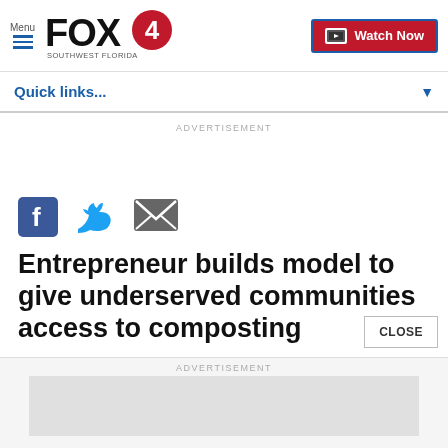Menu | FOX 4 Southwest Florida | Watch Now
Quick links...
ADVERTISEMENT
[Figure (other): Social share icons: Facebook, Twitter, Email]
Entrepreneur builds model to give underserved communities access to composting
CLOSE
ADVERTISEMENT